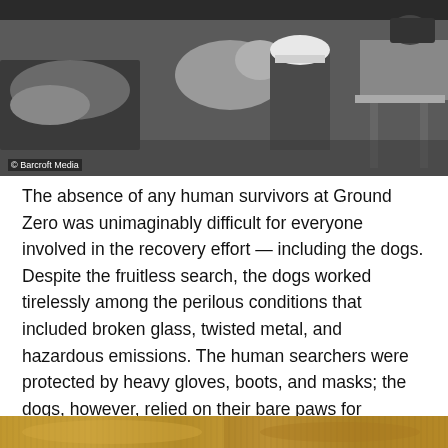[Figure (photo): Black and white photograph showing a rescue worker in a hard hat with a dog at what appears to be Ground Zero. The worker is crouching near the dog. Photo credit: © Barcroft Media]
The absence of any human survivors at Ground Zero was unimaginably difficult for everyone involved in the recovery effort — including the dogs. Despite the fruitless search, the dogs worked tirelessly among the perilous conditions that included broken glass, twisted metal, and hazardous emissions. The human searchers were protected by heavy gloves, boots, and masks; the dogs, however, relied on their bare paws for balance, their exposed claws for traction, and their sensitive noses for any whiff of human remains.
[Figure (photo): Partial photograph visible at the bottom of the page, appears to be a color image, cropped.]